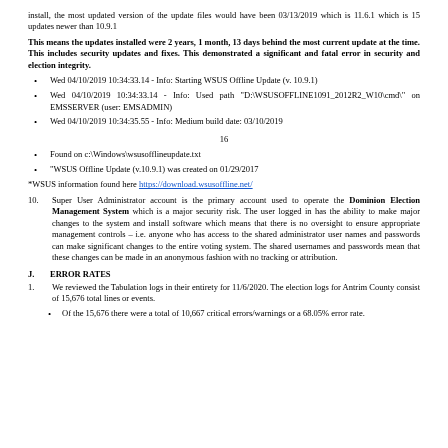install, the most updated version of the update files would have been 03/13/2019 which is 11.6.1 which is 15 updates newer than 10.9.1
This means the updates installed were 2 years, 1 month, 13 days behind the most current update at the time. This includes security updates and fixes. This demonstrated a significant and fatal error in security and election integrity.
Wed 04/10/2019 10:34:33.14 - Info: Starting WSUS Offline Update (v. 10.9.1)
Wed 04/10/2019 10:34:33.14 - Info: Used path "D:\WSUSOFFLINE1091_2012R2_W10\cmd\" on EMSSERVER (user: EMSADMIN)
Wed 04/10/2019 10:34:35.55 - Info: Medium build date: 03/10/2019
16
Found on c:\Windows\wsusofflineupdate.txt
"WSUS Offline Update (v.10.9.1) was created on 01/29/2017
*WSUS information found here https://download.wsusoffline.net/
10. Super User Administrator account is the primary account used to operate the Dominion Election Management System which is a major security risk. The user logged in has the ability to make major changes to the system and install software which means that there is no oversight to ensure appropriate management controls – i.e. anyone who has access to the shared administrator user names and passwords can make significant changes to the entire voting system. The shared usernames and passwords mean that these changes can be made in an anonymous fashion with no tracking or attribution.
J. ERROR RATES
1. We reviewed the Tabulation logs in their entirety for 11/6/2020. The election logs for Antrim County consist of 15,676 total lines or events.
Of the 15,676 there were a total of 10,667 critical errors/warnings or a 68.05% error rate.